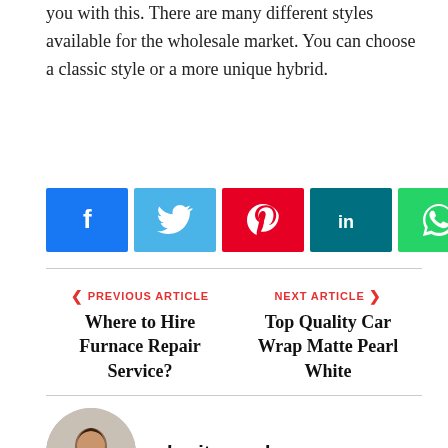you with this. There are many different styles available for the wholesale market. You can choose a classic style or a more unique hybrid.
[Figure (other): Social sharing buttons: Facebook (blue), Twitter (light blue), Pinterest (red), LinkedIn (dark teal), WhatsApp (green), Reddit (orange), Email (black)]
PREVIOUS ARTICLE | Where to Hire Furnace Repair Service?
NEXT ARTICLE | Top Quality Car Wrap Matte Pearl White
charity prado